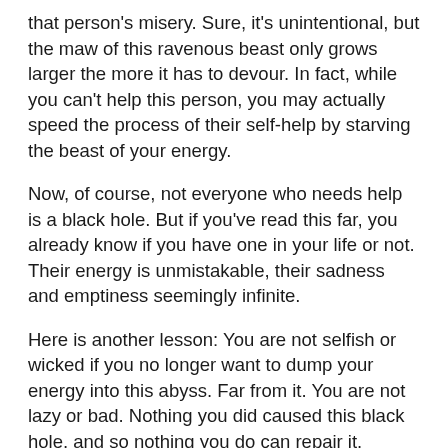that person's misery. Sure, it's unintentional, but the maw of this ravenous beast only grows larger the more it has to devour. In fact, while you can't help this person, you may actually speed the process of their self-help by starving the beast of your energy.
Now, of course, not everyone who needs help is a black hole. But if you've read this far, you already know if you have one in your life or not. Their energy is unmistakable, their sadness and emptiness seemingly infinite.
Here is another lesson: You are not selfish or wicked if you no longer want to dump your energy into this abyss. Far from it. You are not lazy or bad. Nothing you did caused this black hole, and so nothing you do can repair it.
Reclaiming your energy from this enormous drain is, if you can believe it, the least selfish thing you can do. Because actually, thinking you--one person--can solve this person's incalculable suffering, is actually a very egotistical act. You may be great, even a hero to many. But this level of darkness requires a force far greater than a single, fallible